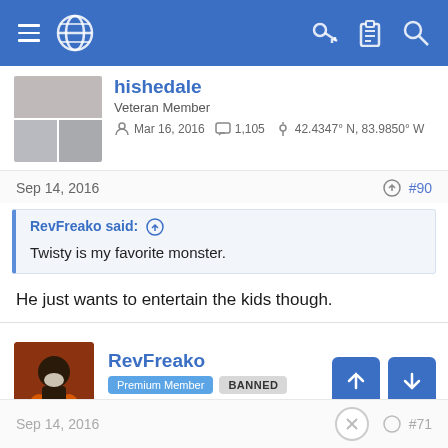Navigation bar with hamburger menu, globe icon, key icon, clipboard icon, and search icon
hishedale
Veteran Member
Mar 16, 2016  1,105  42.4347° N, 83.9850° W
Sep 14, 2016  #90
RevFreako said: ↑
Twisty is my favorite monster.
He just wants to entertain the kids though.
RevFreako
Premium Member  BANNED
Mar 30, 2015  3,663
Sep 14, 2016  #71